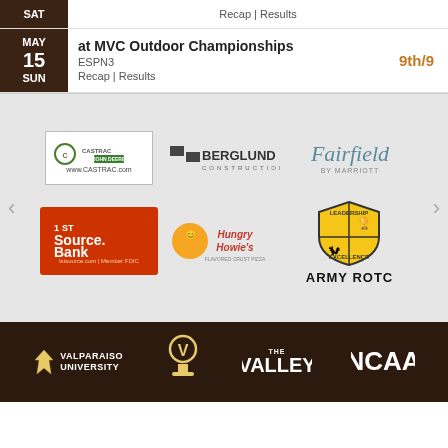| Date | Event | Result |
| --- | --- | --- |
| SAT | Recap | Results |  |
| MAY 15 SUN | at MVC Outdoor Championships
ESPN3
Recap | Results | 9th/9 |
[Figure (logo): Sponsor carousel with CASTRAC/John Deere, Berglund Construction, Fairfield by Marriott, Army ROTC, 1st Source Bank, Hungry Howie's logos]
[Figure (logo): Footer with Valparaiso University logo, VU athletics logo, The Valley conference logo, NCAA logo]